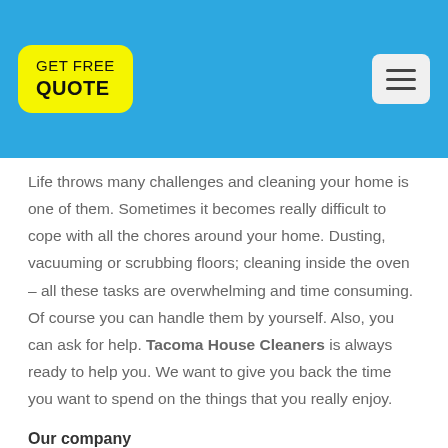GET FREE QUOTE [button] [menu icon]
Life throws many challenges and cleaning your home is one of them. Sometimes it becomes really difficult to cope with all the chores around your home. Dusting, vacuuming or scrubbing floors; cleaning inside the oven – all these tasks are overwhelming and time consuming. Of course you can handle them by yourself. Also, you can ask for help. Tacoma House Cleaners is always ready to help you. We want to give you back the time you want to spend on the things that you really enjoy.
Our company
Tacoma House Cleaning is a family owned, affordable,